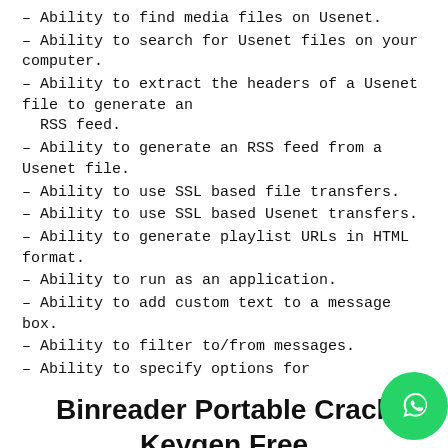– Ability to find media files on Usenet.
– Ability to search for Usenet files on your computer.
– Ability to extract the headers of a Usenet file to generate an RSS feed.
– Ability to generate an RSS feed from a Usenet file.
– Ability to use SSL based file transfers.
– Ability to use SSL based Usenet transfers.
– Ability to generate playlist URLs in HTML format.
– Ability to run as an application.
– Ability to add custom text to a message box.
– Ability to filter to/from messages.
– Ability to specify options for
Binreader Portable Crack Keygen Free
If you are interested in...
IMPORTANT: This is Beta Software – please report any bugs or problems here. You can either do this via the normal support form or by e-mail.
The NetZero Firefox Addon just gets installed on the NetZero